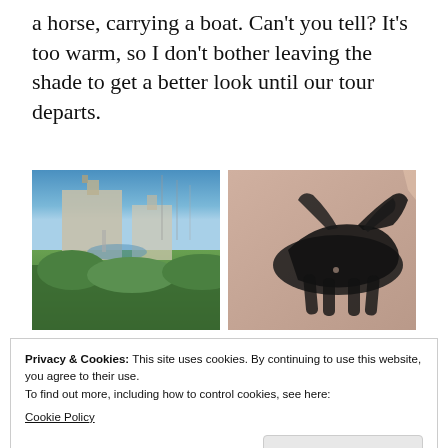a horse, carrying a boat. Can't you tell? It's too warm, so I don't bother leaving the shade to get a better look until our tour departs.
[Figure (photo): Outdoor plaza scene with a large building, fountain, and lush greenery under a blue sky]
[Figure (photo): Shadow of a person on horseback or similar figure cast on a pinkish-tan pavement]
[Figure (photo): Partial image showing a gradient blue-to-purple sky with a small brown box/structure visible]
Privacy & Cookies: This site uses cookies. By continuing to use this website, you agree to their use.
To find out more, including how to control cookies, see here:
Cookie Policy
Close and accept